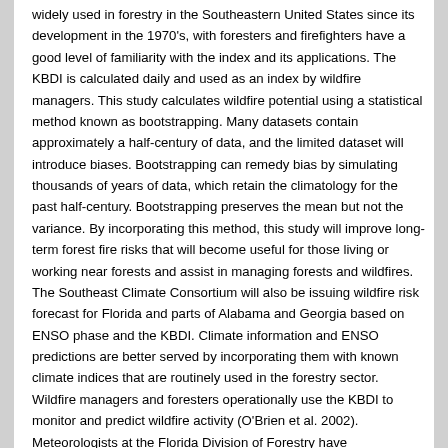widely used in forestry in the Southeastern United States since its development in the 1970's, with foresters and firefighters have a good level of familiarity with the index and its applications. The KBDI is calculated daily and used as an index by wildfire managers. This study calculates wildfire potential using a statistical method known as bootstrapping. Many datasets contain approximately a half-century of data, and the limited dataset will introduce biases. Bootstrapping can remedy bias by simulating thousands of years of data, which retain the climatology for the past half-century. Bootstrapping preserves the mean but not the variance. By incorporating this method, this study will improve long-term forest fire risks that will become useful for those living or working near forests and assist in managing forests and wildfires. The Southeast Climate Consortium will also be issuing wildfire risk forecast for Florida and parts of Alabama and Georgia based on ENSO phase and the KBDI. Climate information and ENSO predictions are better served by incorporating them with known climate indices that are routinely used in the forestry sector. Wildfire managers and foresters operationally use the KBDI to monitor and predict wildfire activity (O'Brien et al. 2002). Meteorologists at the Florida Division of Forestry have demonstrated the validity of the KBDI as an indicator of potential wildfire activity in Florida (Long 2004). They showed that the value of the KBDI is not as important as the deviation from the monthly average. The wildfire risk forecast is based on the probabilities of KBDI anomalies and will present the